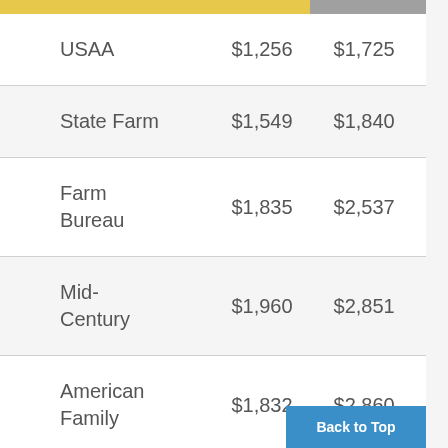| USAA | $1,256 | $1,725 |
| State Farm | $1,549 | $1,840 |
| Farm Bureau | $1,835 | $2,537 |
| Mid-Century | $1,960 | $2,851 |
| American Family | $1,832 | $2,860 |
| Progressive | $1,981 | $3,075 |